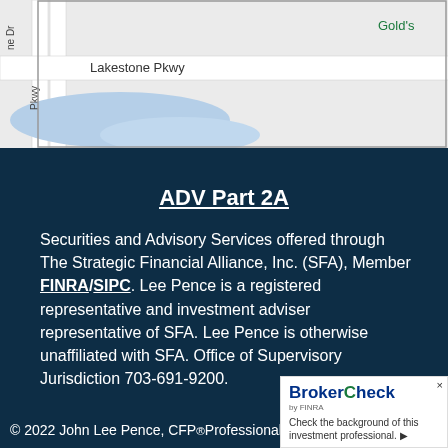[Figure (map): Partial Google Maps view showing Lakestone Pkwy road and surrounding area with blue water features and Gold's Gym label visible at right.]
ADV Part 2A
Securities and Advisory Services offered through The Strategic Financial Alliance, Inc. (SFA), Member FINRA/SIPC. Lee Pence is a registered representative and investment adviser representative of SFA. Lee Pence is otherwise unaffiliated with SFA. Office of Supervisory Jurisdiction 703-691-9200.
© 2022 John Lee Pence, CFP® Professional All ri…
[Figure (logo): BrokerCheck by FINRA overlay widget with text 'Check the background of this investment professional.']